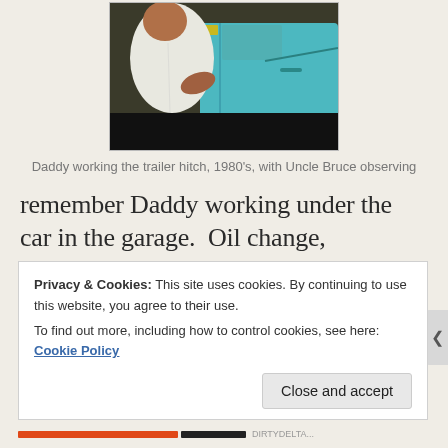[Figure (photo): A person in a white shirt working on a teal/turquoise classic car, working on the trailer hitch area. Another person observing.]
Daddy working the trailer hitch, 1980's, with Uncle Bruce observing
remember Daddy working under the car in the garage.  Oil change, transmission repair, tires patched, some busted blown broken component
Privacy & Cookies: This site uses cookies. By continuing to use this website, you agree to their use.
To find out more, including how to control cookies, see here: Cookie Policy